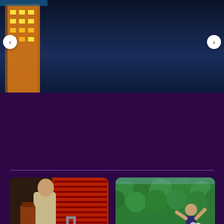[Figure (photo): Hotel room with decorative headboard and white pillows - left side of carousel]
₹ 1,584
[Figure (photo): Hotel exterior at night with orange lighting - right side of carousel]
[Figure (photo): Person at airport with luggage suitcase - Get the latest Indore flight insights]
Get the latest Indore flight insights
Find the best time to
[Figure (photo): Family at swimming pool with child jumping - Start planning your trip today]
Start planning your trip today
Get an overview of